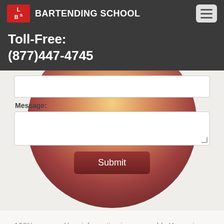LBS BARTENDING SCHOOL
Toll-Free:
(877)447-4745
[Figure (screenshot): Contact form with phone number input field, message textarea, and a Submit button, overlaid on a circular gradient background (copper/amber tones). Below is a white content area.]
100% secure.  Your information is never sold.  Your privacy is protected.